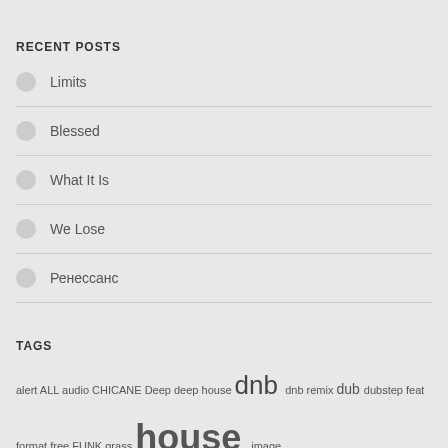RECENT POSTS
Limits
Blessed
What It Is
We Lose
Ренессанс
TAGS
alert ALL audio CHICANE Deep deep house dnb dnb remix dub dubstep feat format free FUNK grass house image javascript js … link Links … mix Music